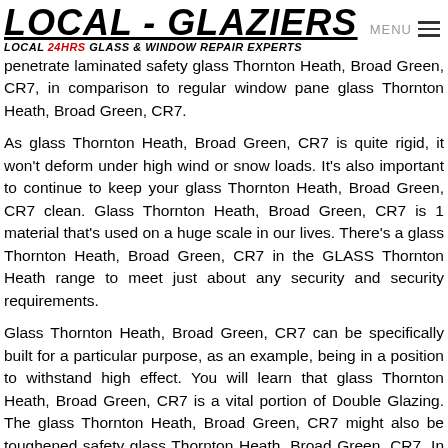LOCAL - GLAZIERS LOCAL 24HRS GLASS & WINDOW REPAIR EXPERTS
penetrate laminated safety glass Thornton Heath, Broad Green, CR7, in comparison to regular window pane glass Thornton Heath, Broad Green, CR7.
As glass Thornton Heath, Broad Green, CR7 is quite rigid, it won't deform under high wind or snow loads. It's also important to continue to keep your glass Thornton Heath, Broad Green, CR7 clean. Glass Thornton Heath, Broad Green, CR7 is 1 material that's used on a huge scale in our lives. There's a glass Thornton Heath, Broad Green, CR7 in the GLASS Thornton Heath range to meet just about any security and security requirements.
Glass Thornton Heath, Broad Green, CR7 can be specifically built for a particular purpose, as an example, being in a position to withstand high effect. You will learn that glass Thornton Heath, Broad Green, CR7 is a vital portion of Double Glazing. The glass Thornton Heath, Broad Green, CR7 might also be toughened safety glass Thornton Heath, Broad Green, CR7. In the end, there's the sort of glass